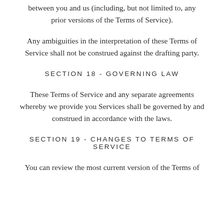between you and us (including, but not limited to, any prior versions of the Terms of Service).
Any ambiguities in the interpretation of these Terms of Service shall not be construed against the drafting party.
SECTION 18 - GOVERNING LAW
These Terms of Service and any separate agreements whereby we provide you Services shall be governed by and construed in accordance with the laws.
SECTION 19 - CHANGES TO TERMS OF SERVICE
You can review the most current version of the Terms of